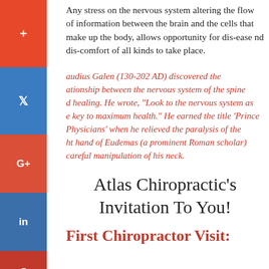Any stress on the nervous system altering the flow of information between the brain and the cells that make up the body, allows opportunity for dis-ease and dis-comfort of all kinds to take place.
Claudius Galen (130-202 AD) discovered the relationship between the nervous system of the spine and healing. He wrote, “Look to the nervous system as the key to maximum health.” He earned the title ‘Prince of Physicians’ when he relieved the paralysis of the right hand of Eudemas (a prominent Roman scholar) by careful manipulation of his neck.
Atlas Chiropractic’s Invitation To You!
First Chiropractor Visit: